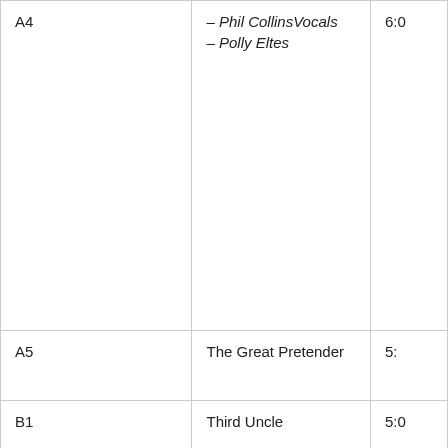| Track | Title / Credits | Duration |
| --- | --- | --- |
| A4 | – Phil CollinsVocals
– Polly Eltes | 6:0 |
| A5 | The Great Pretender | 5: |
| B1 | Third Uncle | 5:0 |
| B2 | Put A Straw Under Baby
Strings – Portsmouth Sinfonia | 3: |